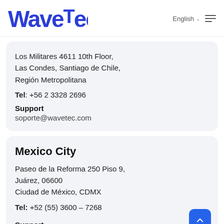[Figure (logo): Wavetec blue logo with stylized W]
English
Los Militares 4611 10th Floor,
Las Condes, Santiago de Chile,
Región Metropolitana
Tel: +56 2 3328 2696
Support
soporte@wavetec.com
Mexico City
Paseo de la Reforma 250 Piso 9,
Juárez, 06600
Ciudad de México, CDMX
Tel: +52 (55) 3600 – 7268
Support